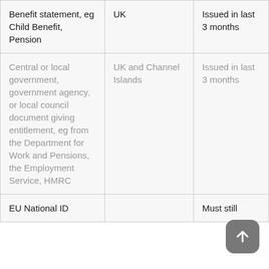| Benefit statement, eg Child Benefit, Pension | UK | Issued in last 3 months |
| Central or local government, government agency, or local council document giving entitlement, eg from the Department for Work and Pensions, the Employment Service, HMRC | UK and Channel Islands | Issued in last 3 months |
| EU National ID |  | Must still |